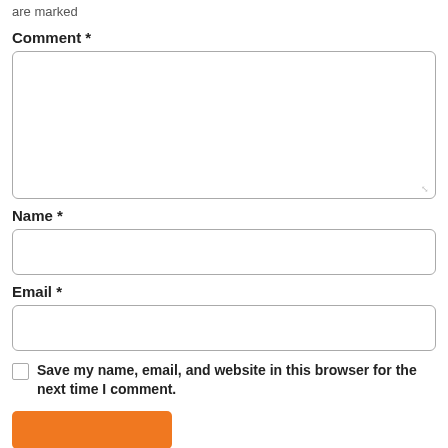are marked
Comment *
[Figure (screenshot): Large multi-line text input field for comments, with resize handle at bottom-right]
Name *
[Figure (screenshot): Single-line text input field for name]
Email *
[Figure (screenshot): Single-line text input field for email]
Save my name, email, and website in this browser for the next time I comment.
[Figure (screenshot): Orange submit/post comment button]